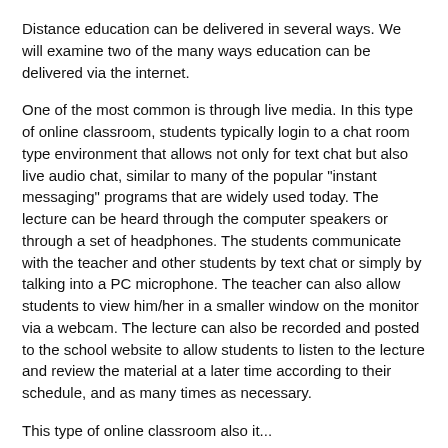Distance education can be delivered in several ways. We will examine two of the many ways education can be delivered via the internet.
One of the most common is through live media. In this type of online classroom, students typically login to a chat room type environment that allows not only for text chat but also live audio chat, similar to many of the popular "instant messaging" programs that are widely used today. The lecture can be heard through the computer speakers or through a set of headphones. The students communicate with the teacher and other students by text chat or simply by talking into a PC microphone. The teacher can also allow students to view him/her in a smaller window on the monitor via a webcam. The lecture can also be recorded and posted to the school website to allow students to listen to the lecture and review the material at a later time according to their schedule, and as many times as necessary.
This type of online classroom also it...